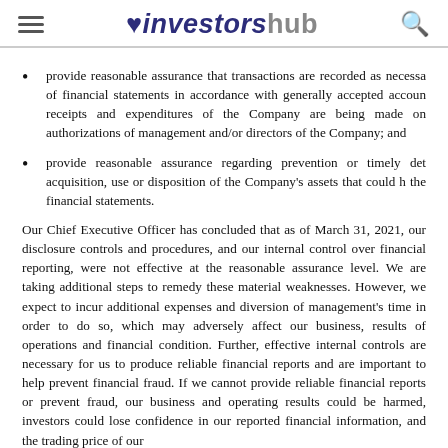investorshub
provide reasonable assurance that transactions are recorded as necessary to permit preparation of financial statements in accordance with generally accepted accounting principles, and that receipts and expenditures of the Company are being made only in accordance with authorizations of management and/or directors of the Company; and
provide reasonable assurance regarding prevention or timely detection of unauthorized acquisition, use or disposition of the Company's assets that could have a material effect on the financial statements.
Our Chief Executive Officer has concluded that as of March 31, 2021, our disclosure controls and procedures, and our internal control over financial reporting, were not effective at the reasonable assurance level. We are taking additional steps to remedy these material weaknesses. However, we expect to incur additional expenses and diversion of management's time in order to do so, which may adversely affect our business, results of operations and financial condition. Further, effective internal controls are necessary for us to produce reliable financial reports and are important to help prevent financial fraud. If we cannot provide reliable financial reports or prevent fraud, our business and operating results could be harmed, investors could lose confidence in our reported financial information, and the trading price of our